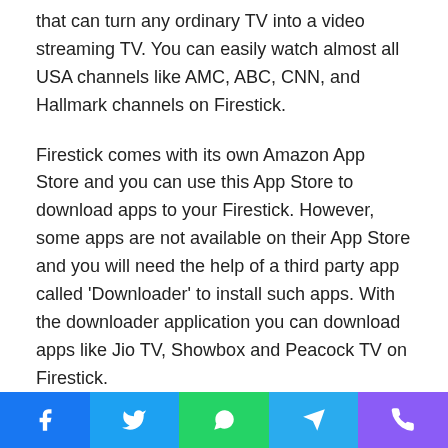that can turn any ordinary TV into a video streaming TV. You can easily watch almost all USA channels like AMC, ABC, CNN, and Hallmark channels on Firestick.
Firestick comes with its own Amazon App Store and you can use this App Store to download apps to your Firestick. However, some apps are not available on their App Store and you will need the help of a third party app called 'Downloader' to install such apps. With the downloader application you can download apps like Jio TV, Showbox and Peacock TV on Firestick.
What is Downloader App?